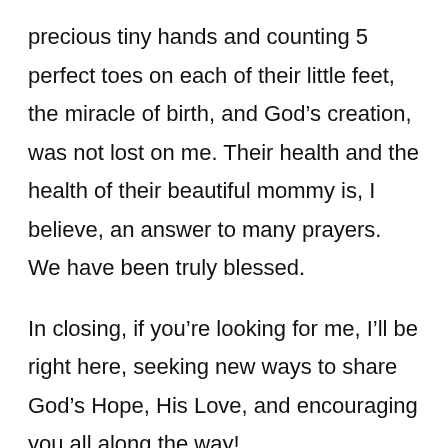precious tiny hands and counting 5 perfect toes on each of their little feet, the miracle of birth, and God’s creation, was not lost on me. Their health and the health of their beautiful mommy is, I believe, an answer to many prayers. We have been truly blessed.
In closing, if you’re looking for me, I’ll be right here, seeking new ways to share God’s Hope, His Love, and encouraging you all along the way!
And I would be remiss to not say Thank You to all of our advertisers! Without them we couldn’t do what we do. Could you please do me a favor? Please